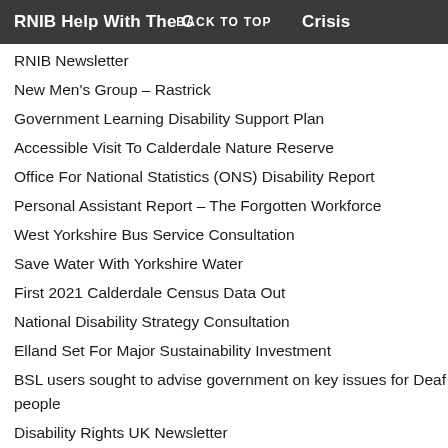RNIB Help With The Cost of Living Crisis
RNIB Newsletter
New Men's Group – Rastrick
Government Learning Disability Support Plan
Accessible Visit To Calderdale Nature Reserve
Office For National Statistics (ONS) Disability Report
Personal Assistant Report – The Forgotten Workforce
West Yorkshire Bus Service Consultation
Save Water With Yorkshire Water
First 2021 Calderdale Census Data Out
National Disability Strategy Consultation
Elland Set For Major Sustainability Investment
BSL users sought to advise government on key issues for Deaf people
Disability Rights UK Newsletter
PIP delays leave Disabled people hundreds of millions of pounds out of pocket
Cost of living...